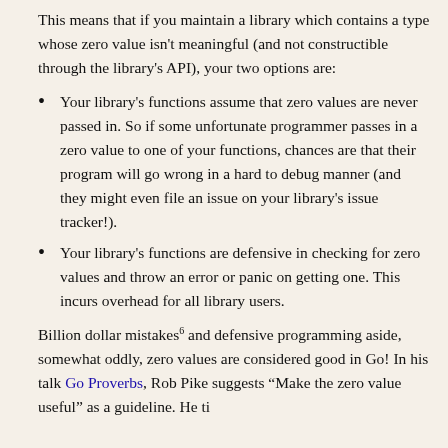This means that if you maintain a library which contains a type whose zero value isn't meaningful (and not constructible through the library's API), your two options are:
Your library's functions assume that zero values are never passed in. So if some unfortunate programmer passes in a zero value to one of your functions, chances are that their program will go wrong in a hard to debug manner (and they might even file an issue on your library's issue tracker!).
Your library's functions are defensive in checking for zero values and throw an error or panic on getting one. This incurs overhead for all library users.
Billion dollar mistakes^6 and defensive programming aside, somewhat oddly, zero values are considered good in Go! In his talk Go Proverbs, Rob Pike suggests "Make the zero value useful" as a guideline. He time...